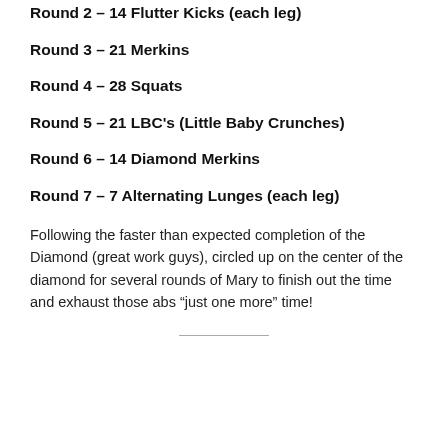Round 2 – 14 Flutter Kicks (each leg)
Round 3 – 21 Merkins
Round 4 – 28 Squats
Round 5 – 21 LBC's (Little Baby Crunches)
Round 6 – 14 Diamond Merkins
Round 7 – 7 Alternating Lunges (each leg)
Following the faster than expected completion of the Diamond (great work guys), circled up on the center of the diamond for several rounds of Mary to finish out the time and exhaust those abs “just one more” time!